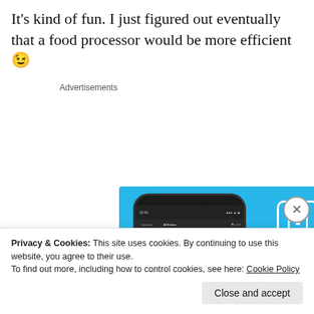It's kind of fun. I just figured out eventually that a food processor would be more efficient 😉
Advertisements
[Figure (screenshot): DayOne app advertisement on a blue background showing a phone mockup with a journal app UI, DayOne logo and tagline 'Your Journal for life', and a 'Get the app' button.]
Privacy & Cookies: This site uses cookies. By continuing to use this website, you agree to their use.
To find out more, including how to control cookies, see here: Cookie Policy
Close and accept